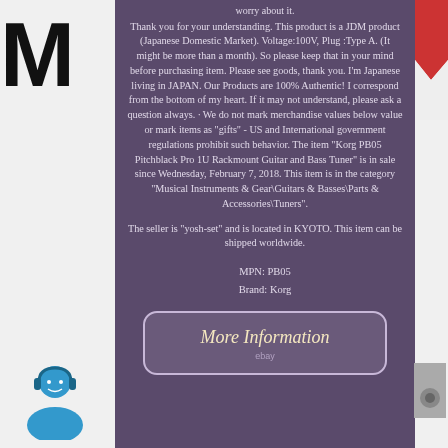worry about it.
Thank you for your understanding. This product is a JDM product (Japanese Domestic Market). Voltage:100V, Plug :Type A. (It might be more than a month). So please keep that in your mind before purchasing item. Please see goods, thank you. I'm Japanese living in JAPAN. Our Products are 100% Authentic! I correspond from the bottom of my heart. If it may not understand, please ask a question always. · We do not mark merchandise values below value or mark items as "gifts" - US and International government regulations prohibit such behavior. The item "Korg PB05 Pitchblack Pro 1U Rackmount Guitar and Bass Tuner" is in sale since Wednesday, February 7, 2018. This item is in the category "Musical Instruments & Gear\Guitars & Basses\Parts & Accessories\Tuners".
The seller is "yosh-set" and is located in KYOTO. This item can be shipped worldwide.
MPN: PB05
Brand: Korg
[Figure (other): Rounded rectangle button with text 'More Information' and 'ebay' below it]